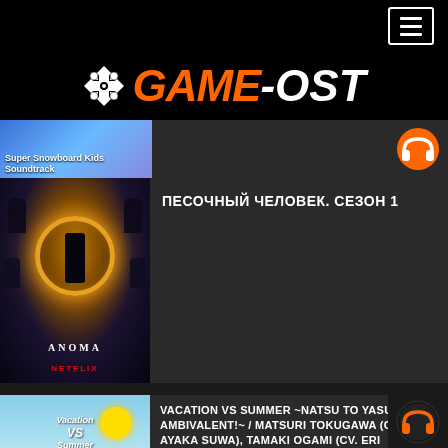GAME-OST
[Figure (screenshot): Super Snowboard Kids Soundtrack thumbnail (partially visible at top)]
ПЕСОЧНЫЙ ЧЕЛОВЕК. СЕЗОН 1
[Figure (photo): The Sandman Season 1 Netflix poster - dark image with glowing golden ring surrounded by characters]
VACATION VS SUMMER ~NATSU TO YASUMI NO AMBIVALENT!~ / MATSURI TOKUGAWA (CV. AYAKA SUWA), TAMAKI OGAMI (CV. ERI INAGAWA), TSUMUGI SHIRAISHI (CV. SAKI MINAMI), NORIKO FUKUDA (CV. NANA HAMASAKI), AZUSA MIURA (CV. CHIAKI TAKAHASHI)
[Figure (illustration): Vacation VS Summer colorful anime-style artwork with characters]